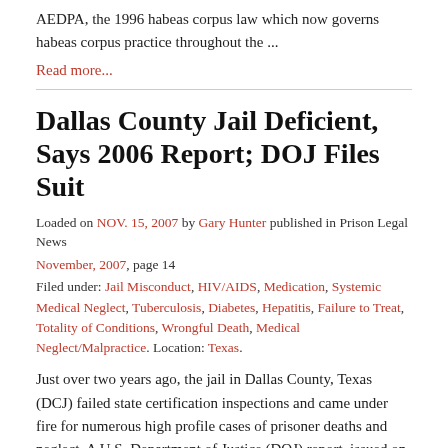AEDPA, the 1996 habeas corpus law which now governs habeas corpus practice throughout the ...
Read more...
Dallas County Jail Deficient, Says 2006 Report; DOJ Files Suit
Loaded on NOV. 15, 2007 by Gary Hunter published in Prison Legal News November, 2007, page 14
Filed under: Jail Misconduct, HIV/AIDS, Medication, Systemic Medical Neglect, Tuberculosis, Diabetes, Hepatitis, Failure to Treat, Totality of Conditions, Wrongful Death, Medical Neglect/Malpractice. Location: Texas.
Just over two years ago, the jail in Dallas County, Texas (DCJ) failed state certification inspections and came under fire for numerous high profile cases of prisoner deaths and neglect. A U.S. Department of Justice (DOJ) report, issued on December 8, 2006, found that the facility was still deficient in ...
Read more...
$56,000 Settlement for Torturous Eight